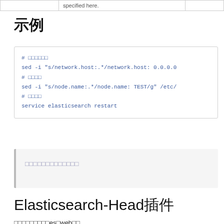|  | specified here: |
| --- | --- |
|  |
示例
# 修改网络配置
sed -i "s/network.host:.*/network.host: 0.0.0.0
# 修改节点
sed -i "s/node.name:.*/node.name: TEST/g" /etc/
# 重启服务
service elasticsearch restart
□□□□□□□□□□□□□
Elasticsearch-Head插件
□□□□□□□□□es□web□□